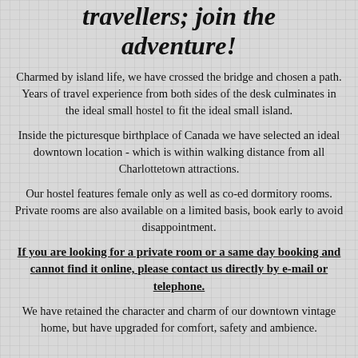travellers; join the adventure!
Charmed by island life, we have crossed the bridge and chosen a path. Years of travel experience from both sides of the desk culminates in the ideal small hostel to fit the ideal small island.
Inside the picturesque birthplace of Canada we have selected an ideal downtown location - which is within walking distance from all Charlottetown attractions.
Our hostel features female only as well as co-ed dormitory rooms. Private rooms are also available on a limited basis, book early to avoid disappointment.
If you are looking for a private room or a same day booking and cannot find it online, please contact us directly by e-mail or telephone.
We have retained the character and charm of our downtown vintage home, but have upgraded for comfort, safety and ambience.